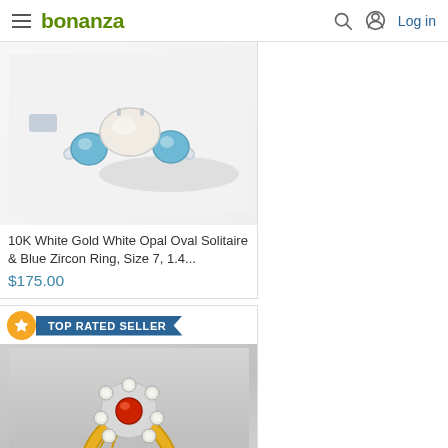bonanza | Log in
[Figure (photo): Photo of a white opal oval ring with blue zircon side stones set in white gold, shown against a light background]
10K White Gold White Opal Oval Solitaire & Blue Zircon Ring, Size 7, 1.4...
$175.00
TOP RATED SELLER
[Figure (photo): Photo of a gold ring with a red center stone surrounded by white diamond-like stones in a flower cluster setting, photographed on a gray surface]